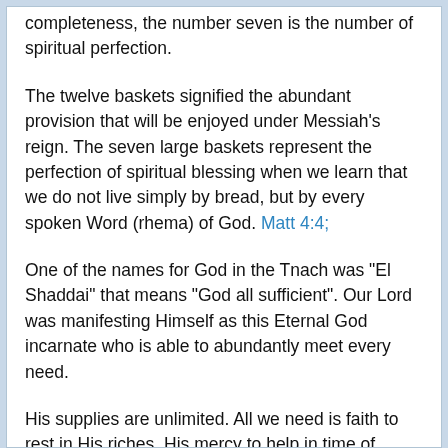completeness, the number seven is the number of spiritual perfection.
The twelve baskets signified the abundant provision that will be enjoyed under Messiah's reign. The seven large baskets represent the perfection of spiritual blessing when we learn that we do not live simply by bread, but by every spoken Word (rhema) of God. Matt 4:4;
One of the names for God in the Tnach was "El Shaddai" that means "God all sufficient". Our Lord was manifesting Himself as this Eternal God incarnate who is able to abundantly meet every need.
His supplies are unlimited. All we need is faith to rest in His riches, His mercy to help in time of need, and to draw from His abundant provision. The bread He gave pictured Himself as the Bread of God come down from heaven and gives spiritual (zoe) life to the world. John 6:33